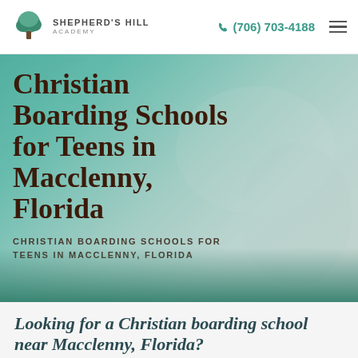SHEPHERD'S HILL ACADEMY | (706) 703-4188
Christian Boarding Schools for Teens in Macclenny, Florida
CHRISTIAN BOARDING SCHOOLS FOR TEENS IN MACCLENNY, FLORIDA
Looking for a Christian boarding school near Macclenny, Florida?